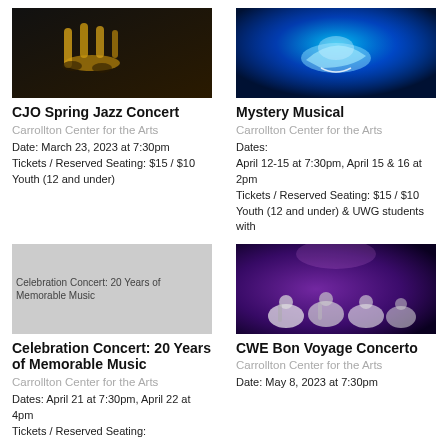[Figure (photo): Musicians playing brass instruments, jazz concert photo]
CJO Spring Jazz Concert
Carrollton Center for the Arts
Date: March 23, 2023 at 7:30pm
Tickets / Reserved Seating: $15 / $10 Youth (12 and under)
[Figure (photo): Blue glass slipper / Cinderella shoe on blue background, Mystery Musical]
Mystery Musical
Carrollton Center for the Arts
Dates:
April 12-15 at 7:30pm, April 15 & 16 at 2pm
Tickets / Reserved Seating: $15 / $10 Youth (12 and under) & UWG students with
[Figure (photo): Celebration Concert: 20 Years of Memorable Music placeholder image]
Celebration Concert: 20 Years of Memorable Music
Carrollton Center for the Arts
Dates: April 21 at 7:30pm, April 22 at 4pm
Tickets / Reserved Seating:
[Figure (photo): Orchestra musicians on stage under purple lighting, CWE Bon Voyage Concerto]
CWE Bon Voyage Concerto
Carrollton Center for the Arts
Date: May 8, 2023 at 7:30pm